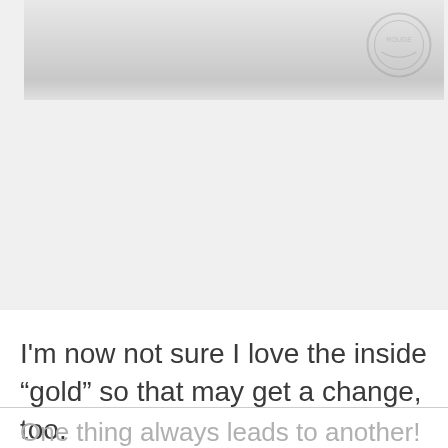[Figure (photo): A light gray/white image, appears to be a partial photo of a white fabric or surface with a faint circular watermark or logo visible in the upper right area.]
I'm now not sure I love the inside “gold” so that may get a change, too.
One thing always leads to another! ;)